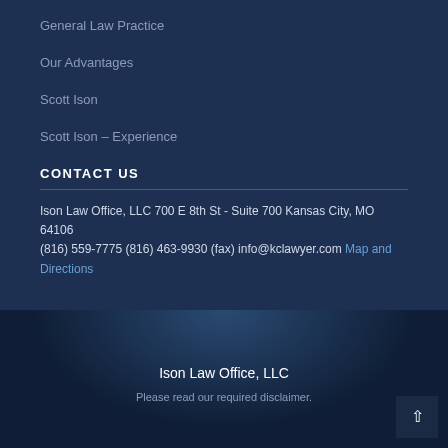General Law Practice
Our Advantages
Scott Ison
Scott Ison – Experience
CONTACT US
Ison Law Office, LLC 700 E 8th St - Suite 700 Kansas City, MO 64106 (816) 559-7775 (816) 463-9930 (fax) info@kclawyer.com Map and Directions
Ison Law Office, LLC
Please read our required disclaimer.